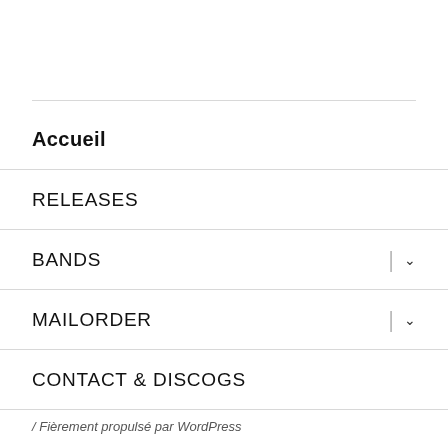Accueil
RELEASES
BANDS
MAILORDER
CONTACT & DISCOGS
/ Fièrement propulsé par WordPress